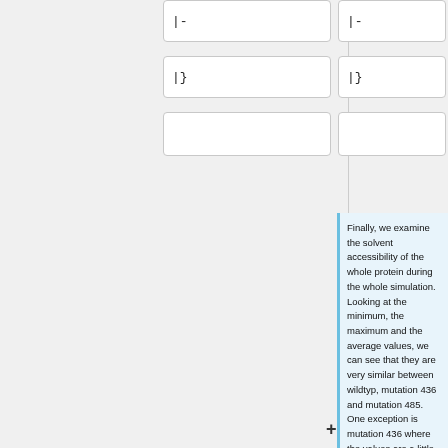|-
|-
|}
|}
Finally, we examine the solvent accessibility of the whole protein during the whole simulation. Looking at the minimum, the maximum and the average values, we can see that they are very similar between wildtyp, mutation 436 and mutation 485. One exception is mutation 436 where the values are a little bit higher. The plots which describes the